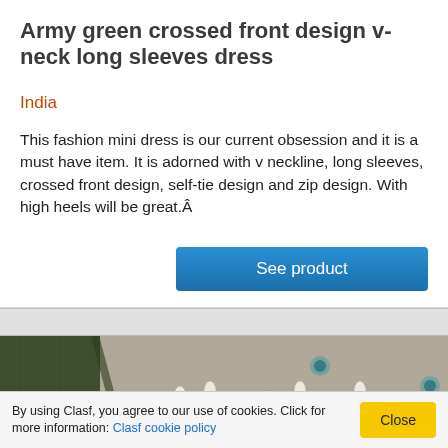Army green crossed front design v-neck long sleeves dress
India
This fashion mini dress is our current obsession and it is a must have item. It is adorned with v neckline, long sleeves, crossed front design, self-tie design and zip design. With high heels will be great.Â
[Figure (other): Blue 'See product' button]
[Figure (photo): Close-up of army green fabric and decorative floral/paisley textile pattern with blue, red, cream, and teal colors]
By using Clasf, you agree to our use of cookies. Click for more information: Clasf cookie policy